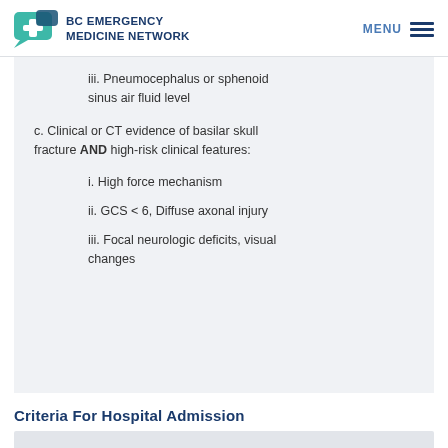BC EMERGENCY MEDICINE NETWORK
iii. Pneumocephalus or sphenoid sinus air fluid level
c. Clinical or CT evidence of basilar skull fracture AND high-risk clinical features:
i. High force mechanism
ii. GCS < 6, Diffuse axonal injury
iii. Focal neurologic deficits, visual changes
Criteria For Hospital Admission